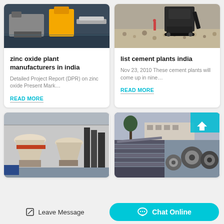[Figure (photo): Industrial zinc oxide plant equipment/machinery in a factory setting with yellow machinery]
zinc oxide plant manufacturers in india
Detailed Project Report (DPR) on zinc oxide Present Mark…
READ MORE
[Figure (photo): Cement plant with construction machinery and gravel/aggregate on a job site]
list cement plants india
Nov 23, 2010 These cement plants will come up in nine…
READ MORE
[Figure (photo): Industrial cone crushers and equipment in a large warehouse/factory]
[Figure (photo): Steel plates, rolls and metal materials stored outdoors at an industrial site]
Leave Message
Chat Online